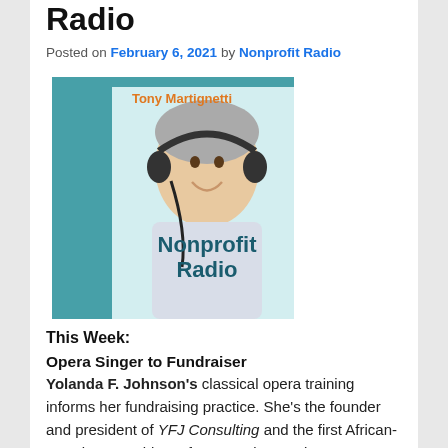Radio
Posted on February 6, 2021 by Nonprofit Radio
[Figure (photo): Tony Martignetti Nonprofit Radio podcast cover art showing a man wearing headphones, smiling, with the text 'Tony Martignetti Nonprofit Radio' on a teal and white background.]
This Week:
Opera Singer to Fundraiser
Yolanda F. Johnson's classical opera training informs her fundraising practice. She's the founder and president of YFJ Consulting and the first African-American president of Women in Development, NY. She's with us for the hour.
There's more at tonymartignetti.com